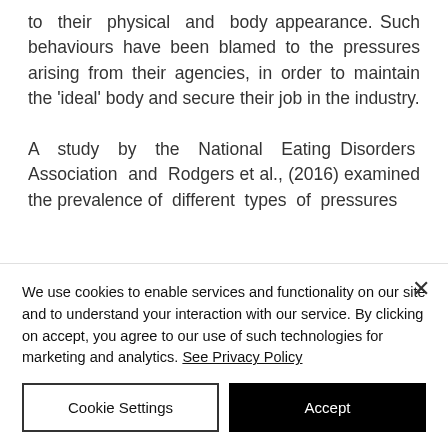to their physical and body appearance. Such behaviours have been blamed to the pressures arising from their agencies, in order to maintain the 'ideal' body and secure their job in the industry.

A study by the National Eating Disorders Association and Rodgers et al., (2016) examined the prevalence of different types of pressures
We use cookies to enable services and functionality on our site and to understand your interaction with our service. By clicking on accept, you agree to our use of such technologies for marketing and analytics. See Privacy Policy